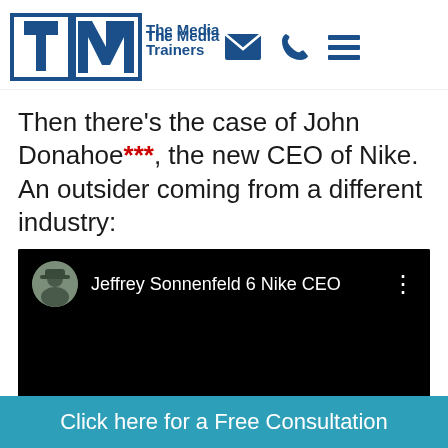[Figure (logo): The Media Trainers logo with TM letters and brand name, plus email, phone, and menu icons]
Then there’s the case of John Donahoe***, the new CEO of Nike. An outsider coming from a different industry:
[Figure (screenshot): YouTube video thumbnail showing Jeffrey Sonnenfeld 6 Nike CEO with a circular profile photo avatar on black background]
Click here for a Free Consultation